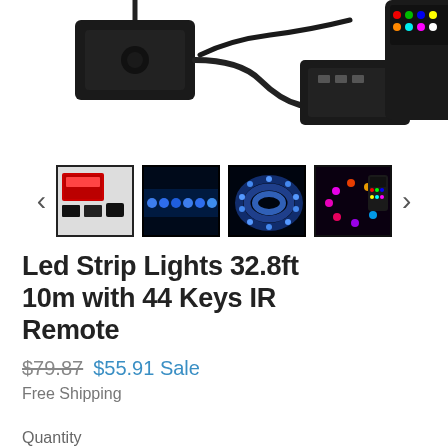[Figure (photo): Product photo showing LED strip light components: a black power adapter, a controller device with cables, and a remote control, displayed on white background, partially cropped at top]
[Figure (photo): Thumbnail carousel with four product images: (1) selected thumbnail with black border showing product box and accessories, (2) blue LED strip lights, (3) blue LED strip in a coil, (4) colorful LED strip with remote. Navigation arrows on left and right.]
Led Strip Lights 32.8ft 10m with 44 Keys IR Remote
$79.87  $55.91 Sale
Free Shipping
Quantity